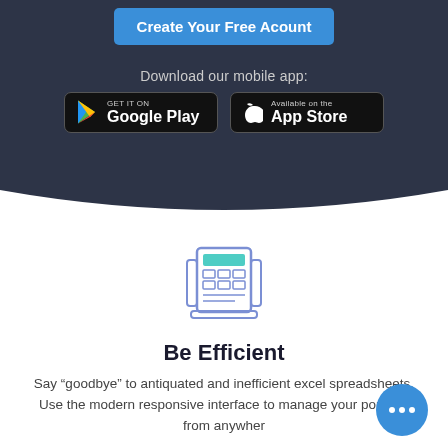Create Your Free Acount
Download our mobile app:
[Figure (logo): Google Play badge - GET IT ON Google Play]
[Figure (logo): Apple App Store badge - Available on the App Store]
[Figure (illustration): Icon of a document/spreadsheet interface representing efficiency]
Be Efficient
Say “goodbye” to antiquated and inefficient excel spreadsheets. Use the modern responsive interface to manage your portfolio from anywher